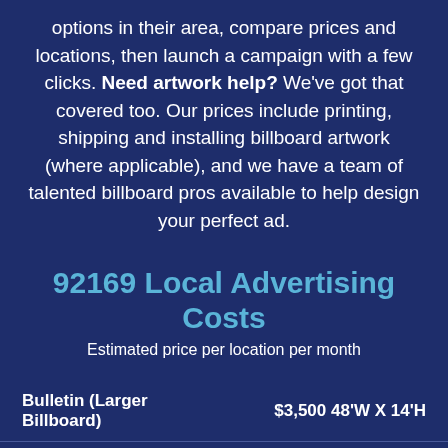options in their area, compare prices and locations, then launch a campaign with a few clicks. Need artwork help? We've got that covered too. Our prices include printing, shipping and installing billboard artwork (where applicable), and we have a team of talented billboard pros available to help design your perfect ad.
92169 Local Advertising Costs
Estimated price per location per month
| Type | Price | Size |
| --- | --- | --- |
| Bulletin (Larger Billboard) | $3,500 | 48'W X 14'H |
| Digital Bulletin (Digital Billboard) | $2,500 | 48'W X 14'H |